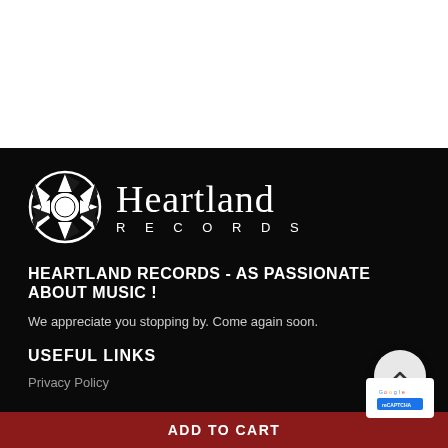[Figure (logo): Heartland Records logo with circular sun/gear icon and serif text reading 'Heartland RECORDS']
HEARTLAND RECORDS - AS PASSIONATE ABOUT MUSIC !
We appreciate you stopping by. Come again soon.
USEFUL LINKS
Privacy Policy
ADD TO CART